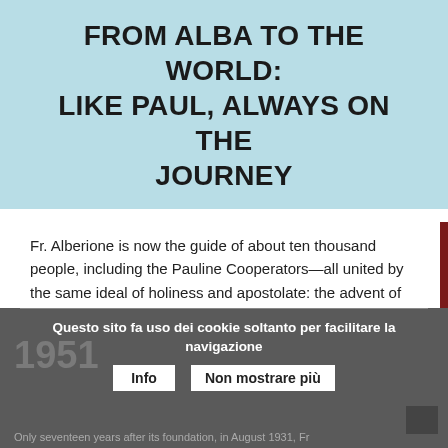FROM ALBA TO THE WORLD: LIKE PAUL, ALWAYS ON THE JOURNEY
Fr. Alberione is now the guide of about ten thousand people, including the Pauline Cooperators—all united by the same ideal of holiness and apostolate: the advent of Christ, Way, Truth, Life, in souls and in the world, through the instruments of social communication.
Questo sito fa uso dei cookie soltanto per facilitare la navigazione  Info  Non mostrare più
1931
Only seventeen years after its foundation, in August 1931, Fr